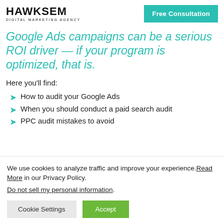HawkSEM Digital Marketing Agency | Free Consultation
Google Ads campaigns can be a serious ROI driver — if your program is optimized, that is.
Here you'll find:
How to audit your Google Ads
When you should conduct a paid search audit
PPC audit mistakes to avoid
We use cookies to analyze traffic and improve your experience. Read More in our Privacy Policy. Do not sell my personal information.
Cookie Settings | Accept